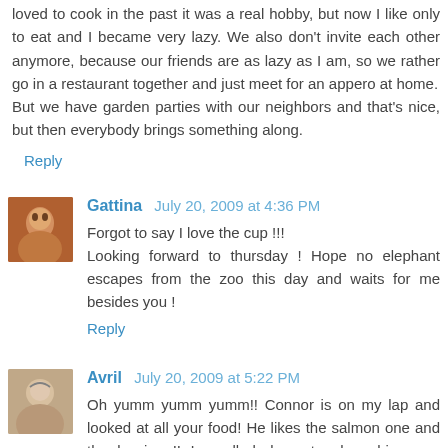loved to cook in the past it was a real hobby, but now I like only to eat and I became very lazy. We also don't invite each other anymore, because our friends are as lazy as I am, so we rather go in a restaurant together and just meet for an appero at home.
But we have garden parties with our neighbors and that's nice, but then everybody brings something along.
Reply
Gattina July 20, 2009 at 4:36 PM
Forgot to say I love the cup !!!
Looking forward to thursday ! Hope no elephant escapes from the zoo this day and waits for me besides you !
Reply
Avril July 20, 2009 at 5:22 PM
Oh yumm yumm yumm!! Connor is on my lap and looked at all your food! He likes the salmon one and the berries !! I scrolled down to show him your grandmothers village -